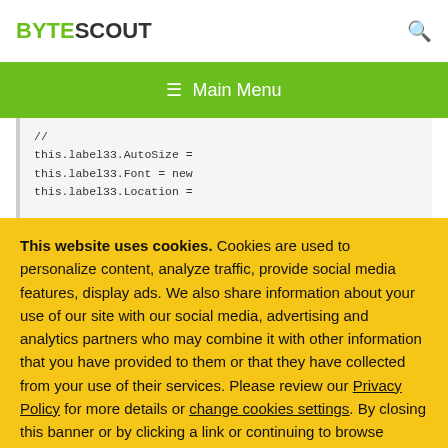BYTESCOUT
[Figure (screenshot): Green navigation bar with hamburger menu icon and 'Main Menu' label]
// this.label33.AutoSize = this.label33.Font = new this.label33.Location =
This website uses cookies. Cookies are used to personalize content, analyze traffic, provide social media features, display ads. We also share information about your use of our site with our social media, advertising and analytics partners who may combine it with other information that you have provided to them or that they have collected from your use of their services. Please review our Privacy Policy for more details or change cookies settings. By closing this banner or by clicking a link or continuing to browse otherwise, you consent to our cookies.
OK